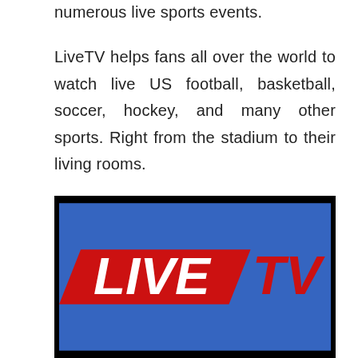numerous live sports events.
LiveTV helps fans all over the world to watch live US football, basketball, soccer, hockey, and many other sports. Right from the stadium to their living rooms.
[Figure (logo): LiveTV logo on a blue background with a black border. The logo shows 'LIVE' in white bold italic text on a red parallelogram shape, and 'TV' in red bold italic text to the right.]